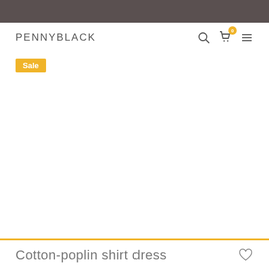PENNYBLACK
[Figure (screenshot): Sale badge on product image area (white/blank product photo)]
Cotton-poplin shirt dress